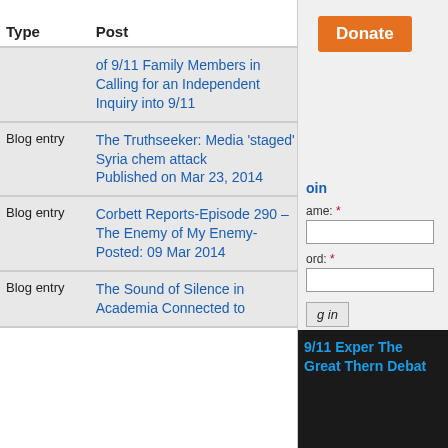| Type | Post | Author | Replies | Last updated |
| --- | --- | --- | --- | --- |
|  | of 9/11 Family Members in Calling for an Independent Inquiry into 9/11 |  |  | oin |
| Blog entry | The Truthseeker: Media 'staged' Syria chem attack Published on Mar 23, 2014 | Joe | 2 | 8 Years 21 we |
| Blog entry | Corbett Reports-Episode 290 – The Enemy of My Enemy- Posted: 09 Mar 2014 | Joe | 1 | 6 years 23 we |
| Blog entry | The Sound of Silence in Academia Connected to | carbon | 5 | 8 |